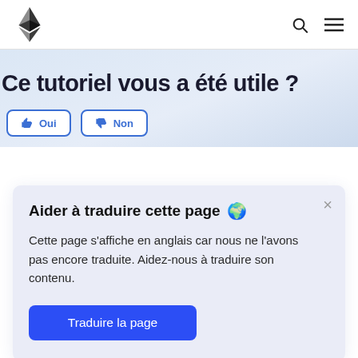Ethereum logo, search icon, menu icon
Ce tutoriel vous a été utile ?
Aider à traduire cette page 🌍
Cette page s'affiche en anglais car nous ne l'avons pas encore traduite. Aidez-nous à traduire son contenu.
Traduire la page